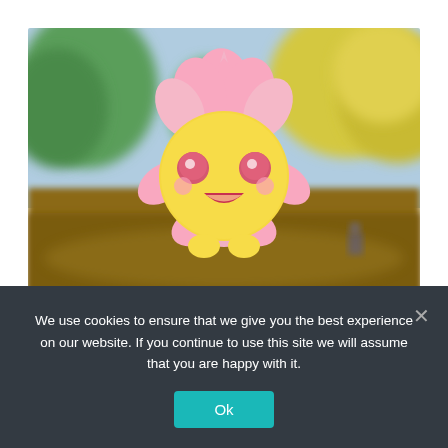[Figure (illustration): Cherrim Pokemon character (pink flower-like creature with yellow face and pink petals) overlaid on a blurred outdoor game scene with green and yellow trees in the background]
Cherrim
We use cookies to ensure that we give you the best experience on our website. If you continue to use this site we will assume that you are happy with it.